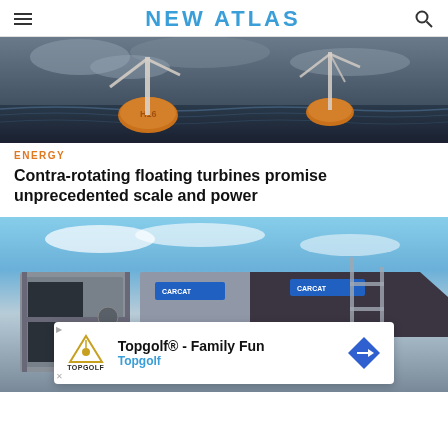NEW ATLAS
[Figure (photo): Contra-rotating floating offshore wind turbines rising from stormy ocean waves with dark cloudy sky in the background. The turbines have orange spherical bases with 'H16' markings.]
ENERGY
Contra-rotating floating turbines promise unprecedented scale and power
[Figure (photo): Carcat branded catamaran boats and marine vessels on display at what appears to be a boat show or exhibition. Large dark canopies and industrial equipment visible.]
Topgolf® - Family Fun  Topgolf  [advertisement]